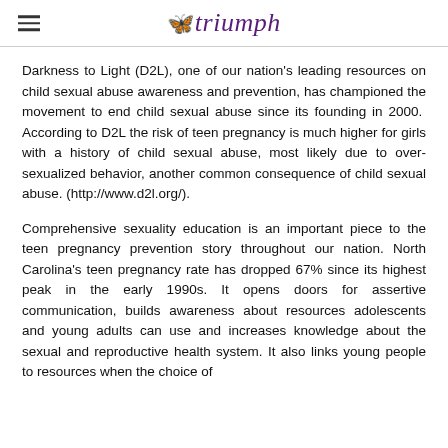triumph
Darkness to Light (D2L), one of our nation's leading resources on child sexual abuse awareness and prevention, has championed the movement to end child sexual abuse since its founding in 2000.  According to D2L the risk of teen pregnancy is much higher for girls with a history of child sexual abuse, most likely due to over-sexualized behavior, another common consequence of child sexual abuse. (http://www.d2l.org/).
Comprehensive sexuality education is an important piece to the teen pregnancy prevention story throughout our nation. North Carolina's teen pregnancy rate has dropped 67% since its highest peak in the early 1990s. It opens doors for assertive communication, builds awareness about resources adolescents and young adults can use and increases knowledge about the sexual and reproductive health system. It also links young people to resources when the choice of